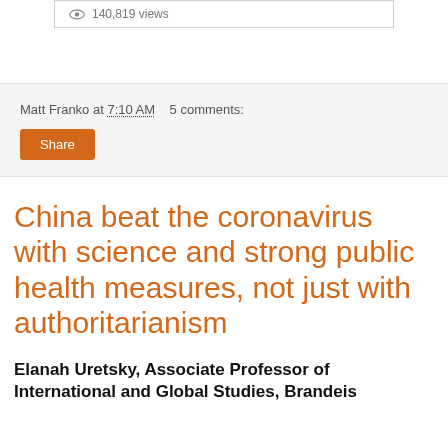[Figure (screenshot): A screenshot widget showing an eye icon and '140,819 views' text in a bordered box]
Matt Franko at 7:10 AM   5 comments:
Share
China beat the coronavirus with science and strong public health measures, not just with authoritarianism
Elanah Uretsky, Associate Professor of International and Global Studies, Brandeis